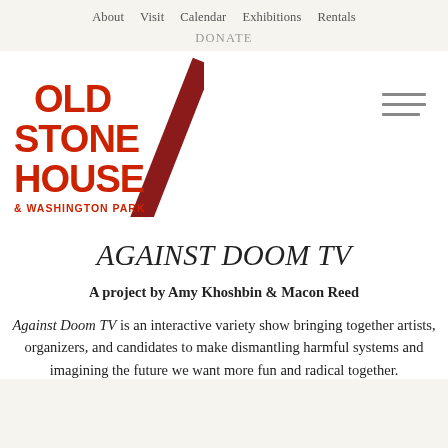About   Visit   Calendar   Exhibitions   Rentals   DONATE
[Figure (logo): Old Stone House & Washington Park logo — bold red stacked text with a diagonal slash graphic]
AGAINST DOOM TV
A project by Amy Khoshbin & Macon Reed
Against Doom TV is an interactive variety show bringing together artists, organizers, and candidates to make dismantling harmful systems and imagining the future we want more fun and radical together.